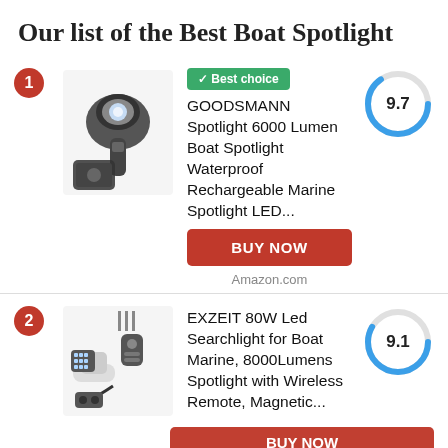Our list of the Best Boat Spotlight
1. GOODSMANN Spotlight 6000 Lumen Boat Spotlight Waterproof Rechargeable Marine Spotlight LED... Score: 9.7 — Best choice
2. EXZEIT 80W Led Searchlight for Boat Marine, 8000Lumens Spotlight with Wireless Remote, Magnetic... Score: 9.1